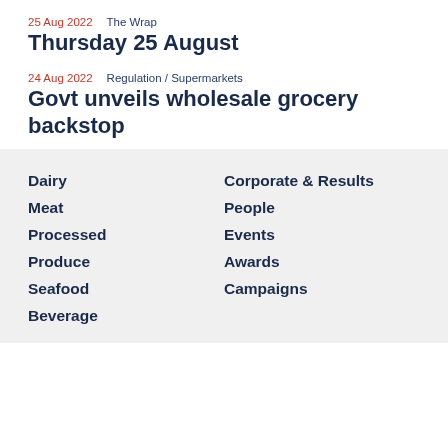25 Aug 2022   The Wrap
Thursday 25 August
24 Aug 2022   Regulation / Supermarkets
Govt unveils wholesale grocery backstop
Dairy
Meat
Processed
Produce
Seafood
Beverage
Corporate & Results
People
Events
Awards
Campaigns